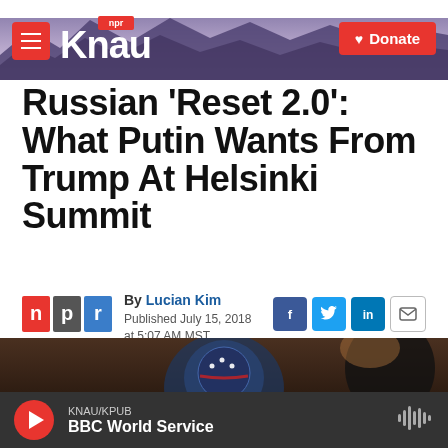KNAU NPR - Donate
Russian 'Reset 2.0': What Putin Wants From Trump At Helsinki Summit
By Lucian Kim
Published July 15, 2018 at 5:07 AM MST
[Figure (photo): Photo of diplomatic items at the Helsinki Summit, showing what appears to be a globe with American flag markings]
KNAU/KPUB BBC World Service